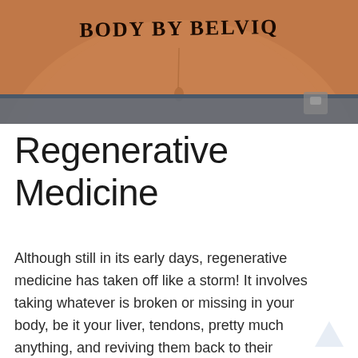[Figure (photo): Close-up photo of a human belly/abdomen with the text 'BODY BY BELVIQ' written on it in marker. The skin is tan/brown colored and the person is wearing jeans.]
Regenerative Medicine
Although still in its early days, regenerative medicine has taken off like a storm! It involves taking whatever is broken or missing in your body, be it your liver, tendons, pretty much anything, and reviving them back to their youthful glory by injecting them with stem cells (the cells you were created from in your mother’s womb) so that the effective becomes once the relevant to the